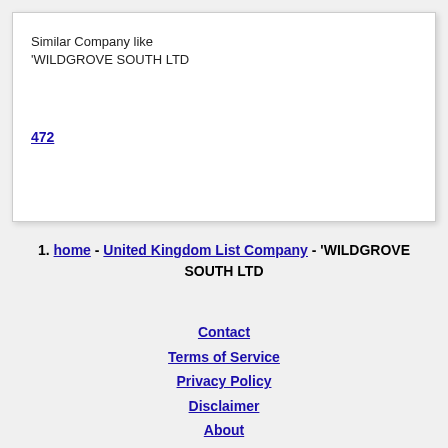Similar Company like 'WILDGROVE SOUTH LTD
472
1. home - United Kingdom List Company - 'WILDGROVE SOUTH LTD
Contact | Terms of Service | Privacy Policy | Disclaimer | About